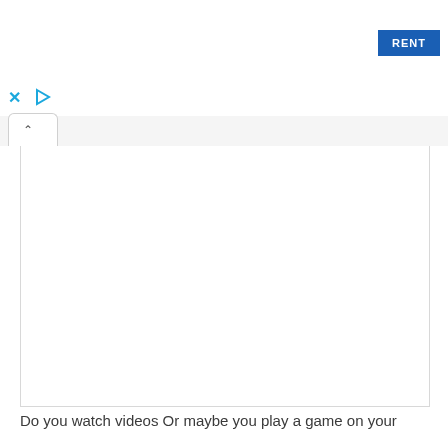[Figure (screenshot): Screenshot of a web browser UI showing a RENT button in blue on the top-right, two cyan icons (X and play arrow) on a toolbar below, a tab with a chevron/caret icon, and a large white content area.]
Do you watch videos Or maybe you play a game on your